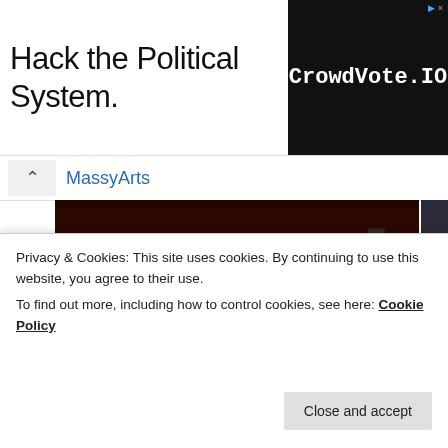[Figure (other): Advertisement banner: 'Hack the Political System.' text with CrowdVote.IO logo on black background]
MassyArts
[Figure (photo): Four-image grid showing musicians: top-left drummer playing at concert, top-right older violinist playing violin, bottom-left young Asian woman, bottom-right stage/concert scene]
Privacy & Cookies: This site uses cookies. By continuing to use this website, you agree to their use.
To find out more, including how to control cookies, see here: Cookie Policy
Close and accept